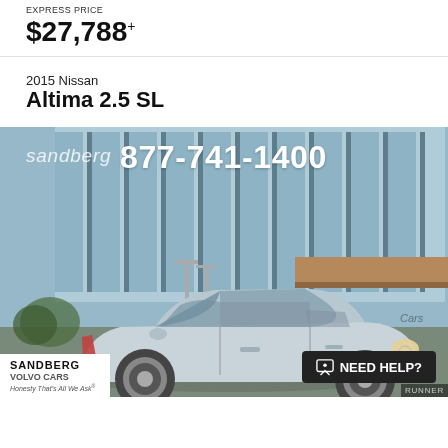EXPRESS PRICE
$27,788+
2015 Nissan
Altima 2.5 SL
[Figure (photo): 2015 Nissan Altima 2.5 SL silver sedan parked in front of Sandberg Volvo Cars dealership with glass facade. White text overlay shows phone number 877-741-1400. Bottom left has Sandberg Volvo Cars badge with tagline 'Honesty That's All We Ask'. Bottom right shows 'NEED HELP?' button.]